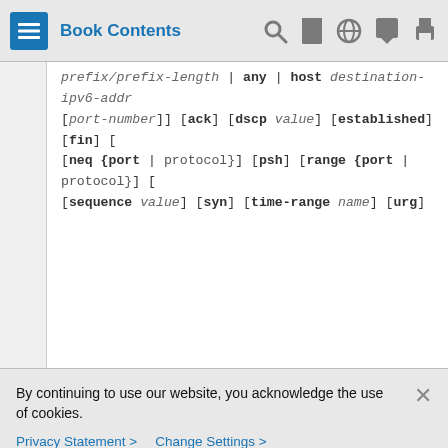Book Contents
prefix/prefix-length | any | host destination-ipv6-addr [port-number]] [ack] [dscp value] [established] [fin] [ [neq {port | protocol}] [psh] [range {port | protocol}] [ [sequence value] [syn] [time-range name] [urg]
By continuing to use our website, you acknowledge the use of cookies.
Privacy Statement > Change Settings >